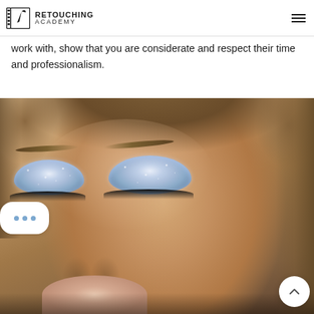Retouching Academy
work with, show that you are considerate and respect their time and professionalism.
[Figure (photo): Close-up beauty portrait of a woman with closed eyes wearing silver glitter eyeshadow, with natural skin and visible nose and lips at the bottom of the frame.]